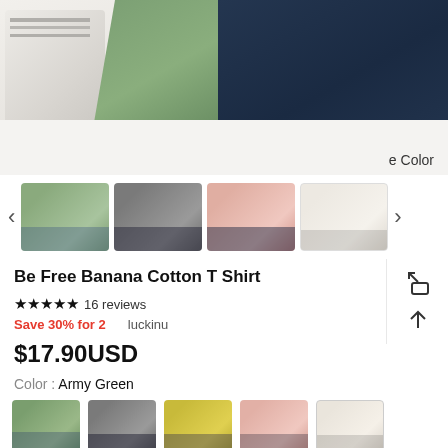[Figure (photo): Product lifestyle photo showing white sneaker on left, green folded scarf/fabric in center, dark navy denim jeans on right, on white wood surface. Text 'e Color' visible on right side.]
[Figure (photo): Thumbnail carousel showing 4 product images of the banana cotton t-shirt in army green, dark gray, pink, and white/cream colors with left and right navigation arrows.]
Be Free Banana Cotton T Shirt
★★★★★ 16 reviews
Save 30% for 2    luckinu
$17.90USD
Color : Army Green
[Figure (photo): Row of color swatch thumbnails for the t-shirt: army green, dark gray, yellow, light pink, and cream/white options.]